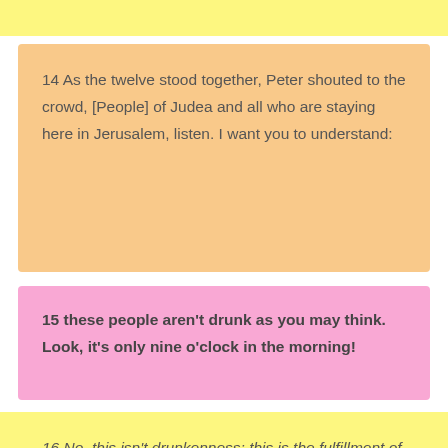14 As the twelve stood together, Peter shouted to the crowd, [People] of Judea and all who are staying here in Jerusalem, listen. I want you to understand:
15 these people aren't drunk as you may think. Look, it's only nine o'clock in the morning!
16 No, this isn't drunkenness; this is the fulfillment of the prophecy of Joel: ...